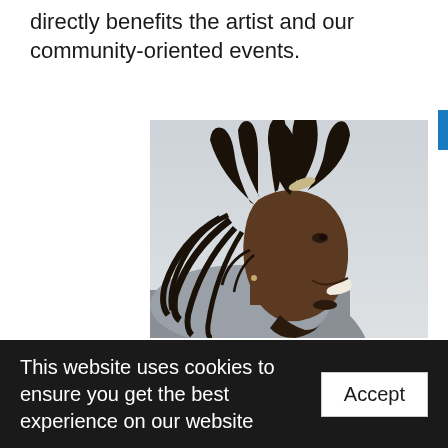directly benefits the artist and our community-oriented events.
[Figure (photo): Side profile photo of a smiling young Black man with dreadlocks tied back, wearing a grey hoodie, photographed against a light grey sky background.]
This website uses cookies to ensure you get the best experience on our website